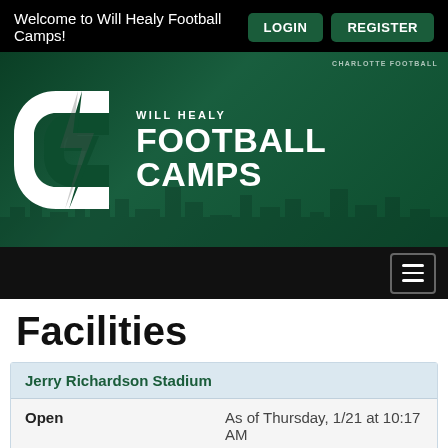Welcome to Will Healy Football Camps!
[Figure (logo): Will Healy Football Camps banner with Charlotte 49ers C logo on dark green background, text reads WILL HEALY FOOTBALL CAMPS, CHARLOTTE FOOTBALL label top right]
[Figure (other): Navigation bar with hamburger menu icon (three horizontal lines) on black background]
Facilities
Jerry Richardson Stadium
Open
As of Thursday, 1/21 at 10:17 AM